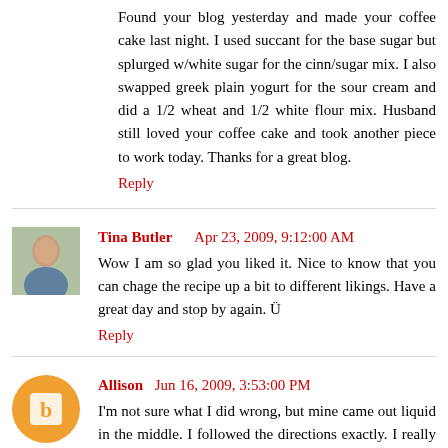Found your blog yesterday and made your coffee cake last night. I used succant for the base sugar but splurged w/white sugar for the cinn/sugar mix. I also swapped greek plain yogurt for the sour cream and did a 1/2 wheat and 1/2 white flour mix. Husband still loved your coffee cake and took another piece to work today. Thanks for a great blog.
Reply
Tina Butler   Apr 23, 2009, 9:12:00 AM
Wow I am so glad you liked it. Nice to know that you can chage the recipe up a bit to different likings. Have a great day and stop by again. Ü
Reply
Allison  Jun 16, 2009, 3:53:00 PM
I'm not sure what I did wrong, but mine came out liquid in the middle. I followed the directions exactly. I really wanted it to look as good as yours. =(
Reply